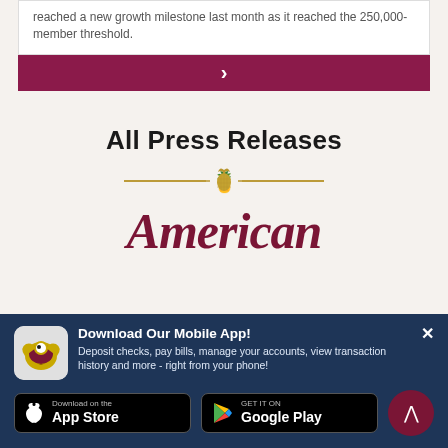reached a new growth milestone last month as it reached the 250,000-member threshold.
[Figure (other): Dark red/maroon clickable button with right-pointing chevron arrow]
All Press Releases
[Figure (other): Gold decorative divider with pineapple icon in center flanked by horizontal lines]
American
[Figure (other): Mobile app download banner with app icon, title 'Download Our Mobile App!', description text, App Store and Google Play buttons, and scroll-to-top button]